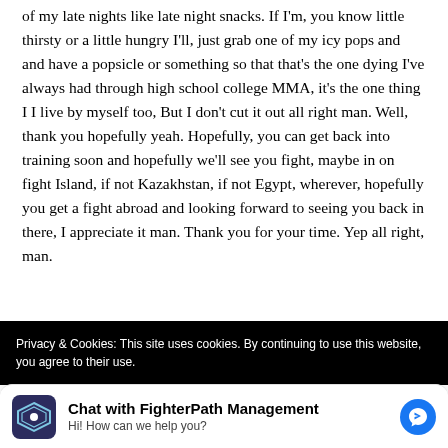of my late nights like late night snacks. If I'm, you know little thirsty or a little hungry I'll, just grab one of my icy pops and and have a popsicle or something so that that's the one dying I've always had through high school college MMA, it's the one thing I I live by myself too, But I don't cut it out all right man. Well, thank you hopefully yeah. Hopefully, you can get back into training soon and hopefully we'll see you fight, maybe in on fight Island, if not Kazakhstan, if not Egypt, wherever, hopefully you get a fight abroad and looking forward to seeing you back in there, I appreciate it man. Thank you for your time. Yep all right, man.
Privacy & Cookies: This site uses cookies. By continuing to use this website, you agree to their use.
Chat with FighterPath Management
Hi! How can we help you?